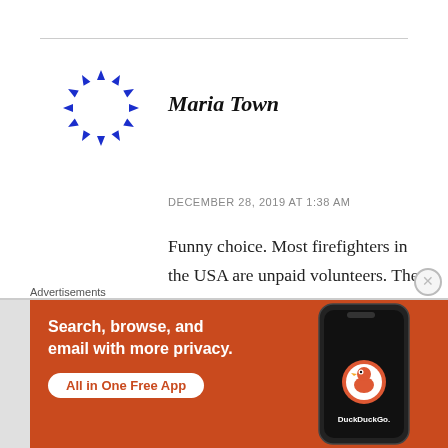[Figure (logo): Circular logo made of blue arrow-like triangle shapes arranged in a ring, resembling an avatar icon for a user named Maria Town]
Maria Town
DECEMBER 28, 2019 AT 1:38 AM
Funny choice. Most firefighters in the USA are unpaid volunteers. They work for free. Most rural fire departments have 1 or 2 paid employees,Your taxes pay for training and equipment, but not for
Advertisements
[Figure (screenshot): DuckDuckGo advertisement banner with orange background. Text reads: Search, browse, and email with more privacy. All in One Free App. Shows a smartphone with DuckDuckGo app icon.]